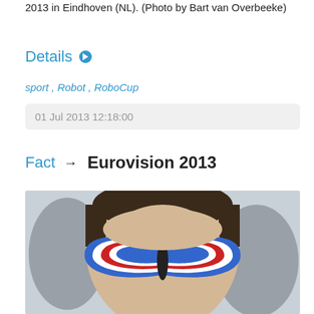2013 in Eindhoven (NL). (Photo by Bart van Overbeeke)
Details
sport , Robot , RoboCup
01 Jul 2013 12:18:00
Fact → Eurovision 2013
[Figure (photo): Person with butterfly face paint in red, white and blue colors, crowd visible in background]